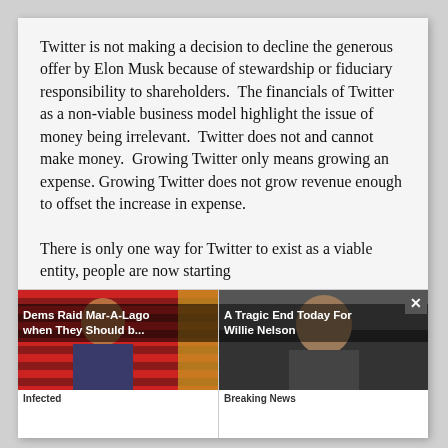Twitter is not making a decision to decline the generous offer by Elon Musk because of stewardship or fiduciary responsibility to shareholders.  The financials of Twitter as a non-viable business model highlight the issue of money being irrelevant.  Twitter does not and cannot make money.  Growing Twitter only means growing an expense. Growing Twitter does not grow revenue enough to offset the increase in expense.
There is only one way for Twitter to exist as a viable entity, people are now starting t... [obscured by ad overlay]
[Figure (other): Ad overlay with two advertisement thumbnails. Left ad shows a man in front of US flags with caption 'Dems Raid Mar-A-Lago when They Should b...' sourced from 'Infected'. Right ad shows an elderly man with caption 'A Tragic End Today For Willie Nelson' sourced from 'Breaking News'. A close button (×) appears in the top right corner.]